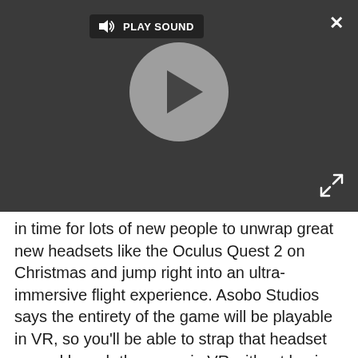[Figure (screenshot): Video player UI with dark background, play sound button with speaker icon, large circular play button in center, close (X) button top right, and expand arrows button bottom right]
in time for lots of new people to unwrap great new headsets like the Oculus Quest 2 on Christmas and jump right into an ultra-immersive flight experience. Asobo Studios says the entirety of the game will be playable in VR, so you'll be able to strap that headset on and launch the game in VR without having to do anything separately on your PC beforehand.
What's more is that World Update 3 will be headed to Microsoft Flight Sim on January 28, 2021 and will include new landmarks and detail in the United Kingdom, as well as tweaks and other fixes